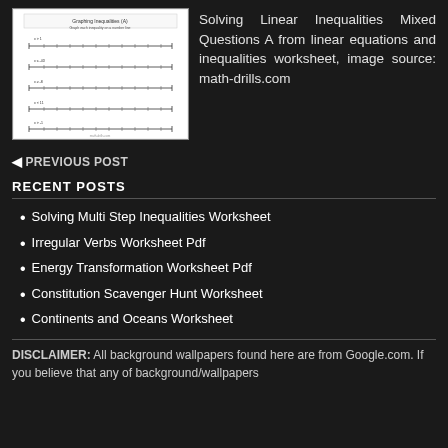[Figure (illustration): Thumbnail image of a 'Graphing Inequalities (A)' worksheet showing number lines]
Solving Linear Inequalities Mixed Questions A from linear equations and inequalities worksheet, image source: math-drills.com
◄ PREVIOUS POST
RECENT POSTS
Solving Multi Step Inequalities Worksheet
Irregular Verbs Worksheet Pdf
Energy Transformation Worksheet Pdf
Constitution Scavenger Hunt Worksheet
Continents and Oceans Worksheet
DISCLAIMER: All background wallpapers found here are from Google.com. If you believe that any of background/wallpapers